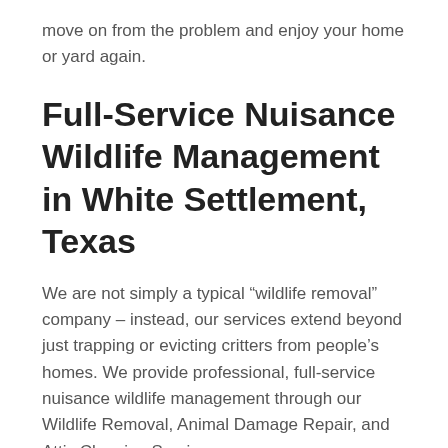move on from the problem and enjoy your home or yard again.
Full-Service Nuisance Wildlife Management in White Settlement, Texas
We are not simply a typical “wildlife removal” company – instead, our services extend beyond just trapping or evicting critters from people’s homes. We provide professional, full-service nuisance wildlife management through our Wildlife Removal, Animal Damage Repair, and Attic Cleaning Services.
Our wildlife specialists are highly trained in understanding the habits of both common and not-so-common pests that can invade White Settlement homes – such as